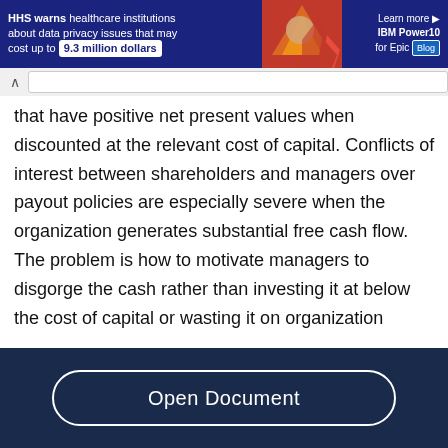[Figure (screenshot): Advertisement banner with dark blue background. Left side shows text about HHS warning healthcare institutions about data privacy issues that may cost up to 9.3 million dollars. Center shows an image of a person with flames and a red downward arrow. Right side shows 'Learn more IBM Power10 for Epic Blog'.]
that have positive net present values when discounted at the relevant cost of capital. Conflicts of interest between shareholders and managers over payout policies are especially severe when the organization generates substantial free cash flow. The problem is how to motivate managers to disgorge the cash rather than investing it at below the cost of capital or wasting it on organization
[Figure (screenshot): Dark navy footer bar with an 'Open Document' button rendered as a rounded rectangle with white border and white text.]